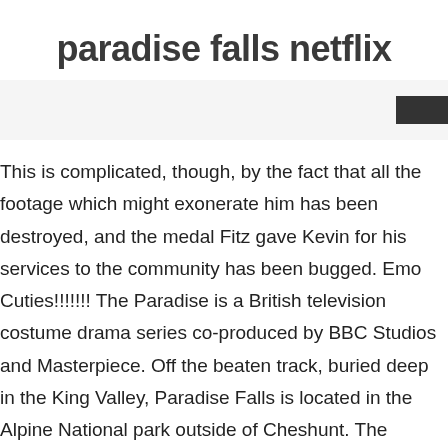paradise falls netflix
[Figure (other): Dark rectangular button/element in the upper right area]
This is complicated, though, by the fact that all the footage which might exonerate him has been destroyed, and the medal Fitz gave Kevin for his services to the community has been bugged. Emo Cuties!!!!!!! The Paradise is a British television costume drama series co-produced by BBC Studios and Masterpiece. Off the beaten track, buried deep in the King Valley, Paradise Falls is located in the Alpine National park outside of Cheshunt. The peculiar mesas depicted in Paradise Falls are called tepui, or “house of the gods” in the language of